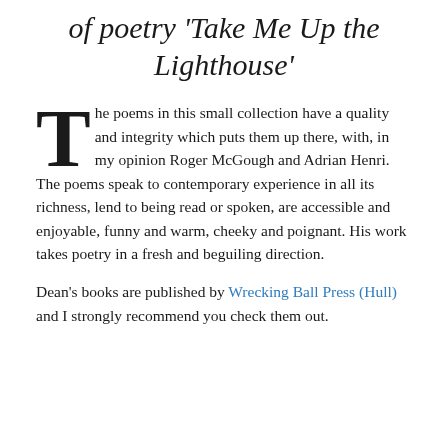of poetry 'Take Me Up the Lighthouse'
The poems in this small collection have a quality and integrity which puts them up there, with, in my opinion Roger McGough and Adrian Henri. The poems speak to contemporary experience in all its richness, lend to being read or spoken, are accessible and enjoyable, funny and warm, cheeky and poignant. His work takes poetry in a fresh and beguiling direction.
Dean's books are published by Wrecking Ball Press (Hull) and I strongly recommend you check them out.